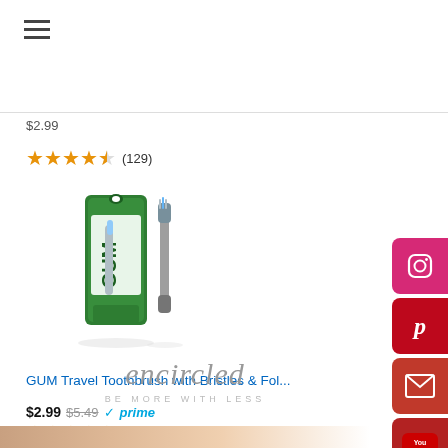[Figure (other): Hamburger menu icon (three horizontal lines)]
$2.99
★★★★½ (129)
[Figure (photo): GUM Travel Toothbrush product image showing packaged and unpackaged toothbrush]
GUM Travel Toothbrush with Bristles & Fol...
$2.99 $5.49 ✓prime
★★★★★ (11496)
Ads by Amazon ▷
[Figure (logo): encircled - BE MORE WITH LESS logo]
[Figure (photo): Bottom image strip showing partial human photo]
[Figure (other): Social media sidebar icons: Instagram, Pinterest, Email, YouTube]